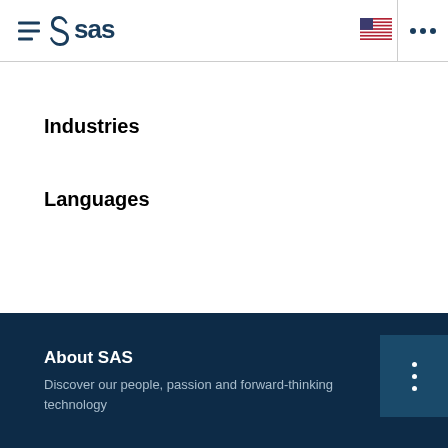SAS navigation header with hamburger menu, SAS logo, US flag, and more options
Industries
Languages
About SAS
Discover our people, passion and forward-thinking technology